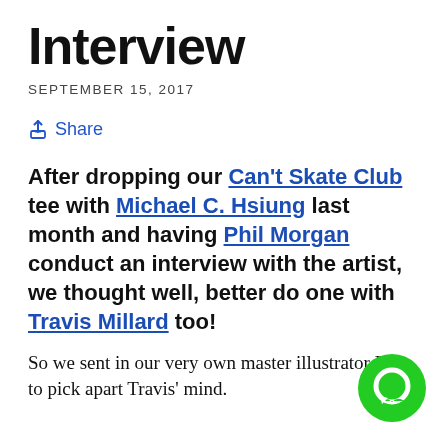Interview
SEPTEMBER 15, 2017
Share
After dropping our Can't Skate Club tee with Michael C. Hsiung last month and having Phil Morgan conduct an interview with the artist, we thought well, better do one with Travis Millard too!
So we sent in our very own master illustrator Phil to pick apart Travis' mind.